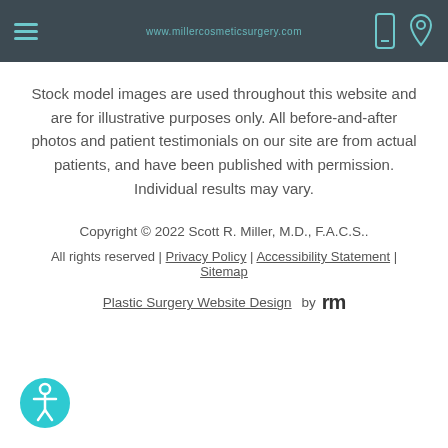www.millercosmeticsurgery.com [nav bar with hamburger menu and phone/location icons]
Stock model images are used throughout this website and are for illustrative purposes only. All before-and-after photos and patient testimonials on our site are from actual patients, and have been published with permission. Individual results may vary.
Copyright © 2022 Scott R. Miller, M.D., F.A.C.S..
All rights reserved | Privacy Policy | Accessibility Statement | Sitemap
Plastic Surgery Website Design by rm
[Figure (logo): Teal circular accessibility icon with person/wheelchair symbol]